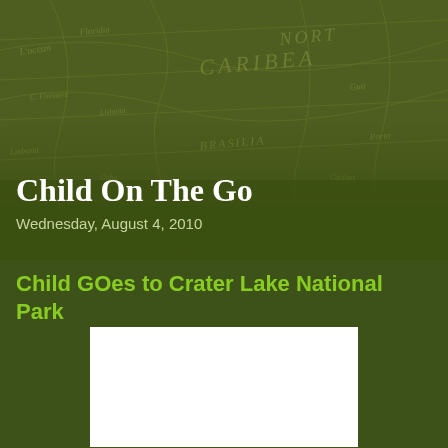[Figure (illustration): Vintage antique map background with dark olive green overlay, showing old cartographic text and lines]
Child On The Go
Enjoying an active lifestyle with children - gear, destinations, & tips
Wednesday, August 4, 2010
Child GOes to Crater Lake National Park
[Figure (photo): White rectangle placeholder image area]